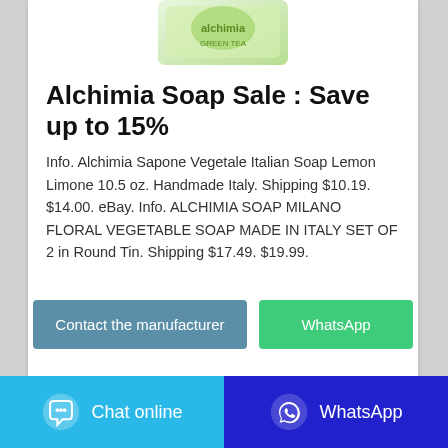[Figure (photo): Partial view of a green soap product box (Alchimia brand) at the top of the card]
Alchimia Soap Sale : Save up to 15%
Info. Alchimia Sapone Vegetale Italian Soap Lemon Limone 10.5 oz. Handmade Italy. Shipping $10.19. $14.00. eBay. Info. ALCHIMIA SOAP MILANO FLORAL VEGETABLE SOAP MADE IN ITALY SET OF 2 in Round Tin. Shipping $17.49. $19.99.
Contact the manufacturer
WhatsApp
Chat online
WhatsApp